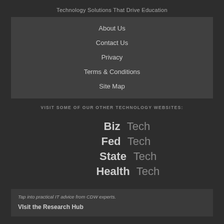Technology Solutions That Drive Education
About Us
Contact Us
Privacy
Terms & Conditions
Site Map
VISIT SOME OF OUR OTHER TECHNOLOGY WEBSITES:
[Figure (logo): Logos for BizTech, FedTech, StateTech, HealthTech technology websites]
Tap into practical IT advice from CDW experts.
VIsit the Research Hub